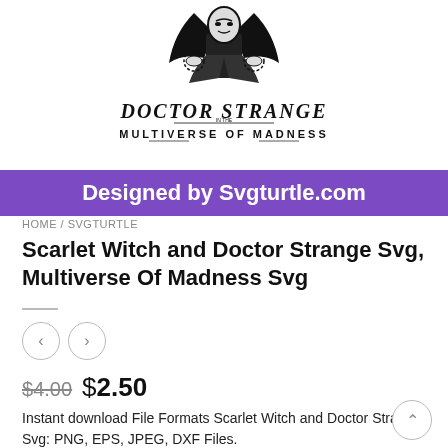[Figure (illustration): Doctor Strange in the Multiverse of Madness black and white illustration with title text]
Designed by Svgturtle.com
HOME / SVGTURTLE
Scarlet Witch and Doctor Strange Svg, Multiverse Of Madness Svg
$4.00  $2.50
Instant download File Formats Scarlet Witch and Doctor Strange Svg: PNG, EPS, JPEG, DXF Files. Find exactly the one you want for your design or crafting